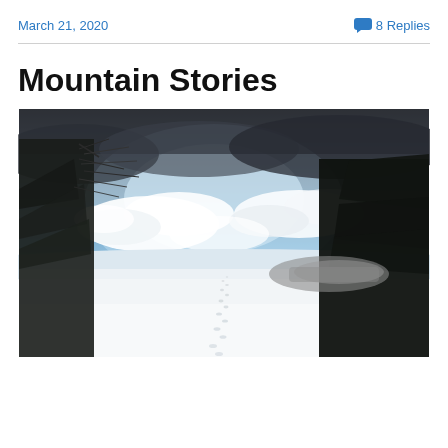March 21, 2020
8 Replies
Mountain Stories
[Figure (photo): A snowy mountain trail with footprints leading into the distance, flanked by evergreen and bare deciduous trees, under a partly cloudy blue sky with dramatic dark clouds.]